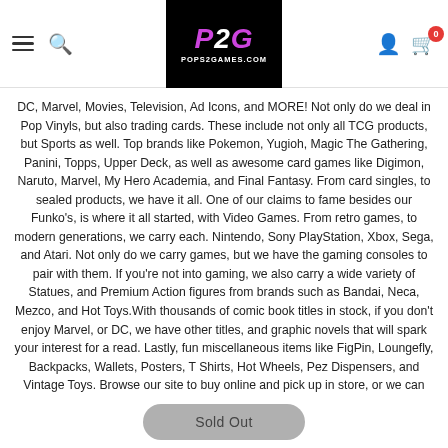Pops2Games.com navigation header with hamburger menu, search, P2G logo, user icon, and cart (0 items)
DC, Marvel, Movies, Television, Ad Icons, and MORE! Not only do we deal in Pop Vinyls, but also trading cards. These include not only all TCG products, but Sports as well. Top brands like Pokemon, Yugioh, Magic The Gathering, Panini, Topps, Upper Deck, as well as awesome card games like Digimon, Naruto, Marvel, My Hero Academia, and Final Fantasy. From card singles, to sealed products, we have it all. One of our claims to fame besides our Funko's, is where it all started, with Video Games. From retro games, to modern generations, we carry each. Nintendo, Sony PlayStation, Xbox, Sega, and Atari. Not only do we carry games, but we have the gaming consoles to pair with them. If you're not into gaming, we also carry a wide variety of Statues, and Premium Action figures from brands such as Bandai, Neca, Mezco, and Hot Toys.With thousands of comic book titles in stock, if you don't enjoy Marvel, or DC, we have other titles, and graphic novels that will spark your interest for a read. Lastly, fun miscellaneous items like FigPin, Loungefly, Backpacks, Wallets, Posters, T Shirts, Hot Wheels, Pez Dispensers, and Vintage Toys. Browse our site to buy online and pick up in store, or we can ship it right to your doorstep. If you can't experience the store in person, take a wonderful